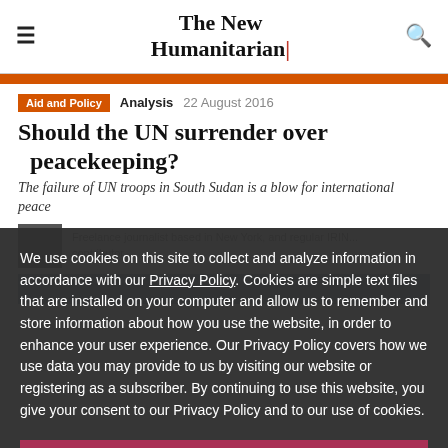The New Humanitarian
Aid and Policy  Analysis  22 August 2016
Should the UN surrender over peacekeeping?
The failure of UN troops in South Sudan is a blow for international peace
Freelance journalist based in New York, and regular IRIN...
We use cookies on this site to collect and analyze information in accordance with our Privacy Policy. Cookies are simple text files that are installed on your computer and allow us to remember and store information about how you use the website, in order to enhance your user experience. Our Privacy Policy covers how we use data you may provide to us by visiting our website or registering as a subscriber. By continuing to use this website, you give your consent to our Privacy Policy and to our use of cookies.
OK, I agree